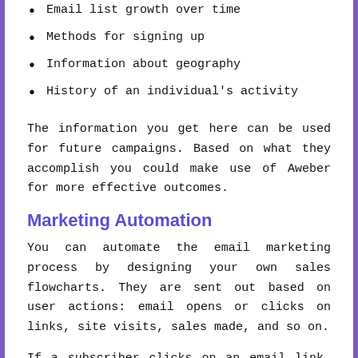Email list growth over time
Methods for signing up
Information about geography
History of an individual's activity
The information you get here can be used for future campaigns. Based on what they accomplish you could make use of Aweber for more effective outcomes.
Marketing Automation
You can automate the email marketing process by designing your own sales flowcharts. They are sent out based on user actions: email opens or clicks on links, site visits, sales made, and so on.
If a subscriber clicks on an email link, Aweber will set an email address for the subscriber. The tags can decide the emails that are sent to whom and when they are sent. This particular